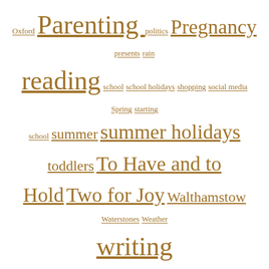Oxford Parenting politics Pregnancy presents rain reading school school holidays shopping social media Spring starting school summer summer holidays toddlers To Have and to Hold Two for Joy Walthamstow Waterstones Weather writing
Follow me on Twitter
[Figure (screenshot): Twitter widget showing tweets from @helenlchandler. A tweet from Helen Ch... (@...) dated Aug 3 reads: 'Summer in the City helenlchandler.com/2022/08/03/sum...']